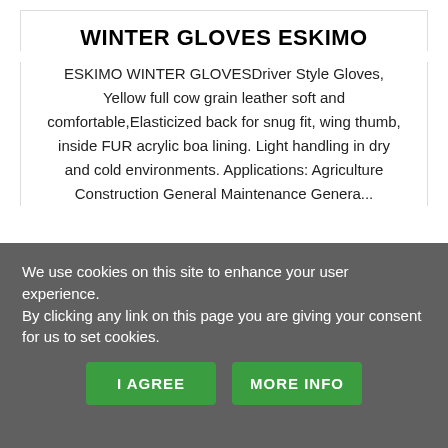WINTER GLOVES ESKIMO
ESKIMO WINTER GLOVESDriver Style Gloves, Yellow full cow grain leather soft and comfortable,Elasticized back for snug fit, wing thumb, inside FUR acrylic boa lining. Light handling in dry and cold environments. Applications: Agriculture Construction General Maintenance Genera...
View product page
We use cookies on this site to enhance your user experience.
By clicking any link on this page you are giving your consent for us to set cookies.
I AGREE
MORE INFO